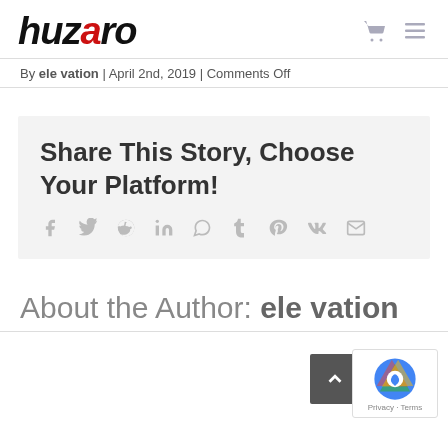huzaro
By ele vation | April 2nd, 2019 | Comments Off
Share This Story, Choose Your Platform!
Social share icons: f, twitter, reddit, in, whatsapp, tumblr, pinterest, vk, mail
About the Author: ele vation